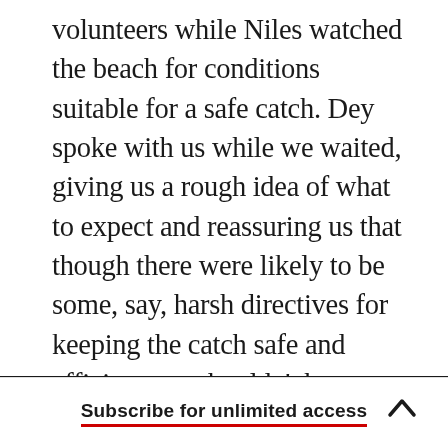volunteers while Niles watched the beach for conditions suitable for a safe catch. Dey spoke with us while we waited, giving us a rough idea of what to expect and reassuring us that though there were likely to be some, say, harsh directives for keeping the catch safe and efficient, we shouldn't become rattled or take it personally. When the cannons went off, I found myself racing down the beach and into the surf around a “wet catch”—an instance in which the net fires partway onto the water, necessitating a quick recovery so that all the pinned shorebirds are moved onto the sand as soon as possible. Once on the beach, we covered the
Subscribe for unlimited access